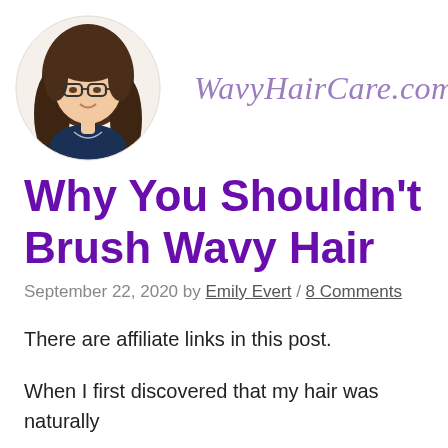[Figure (illustration): Circular portrait illustration of a young woman with brown wavy hair and glasses, wearing a navy top with a collar]
WavyHairCare.com
Why You Shouldn't Brush Wavy Hair
September 22, 2020 by Emily Evert / 8 Comments
There are affiliate links in this post.
When I first discovered that my hair was naturally